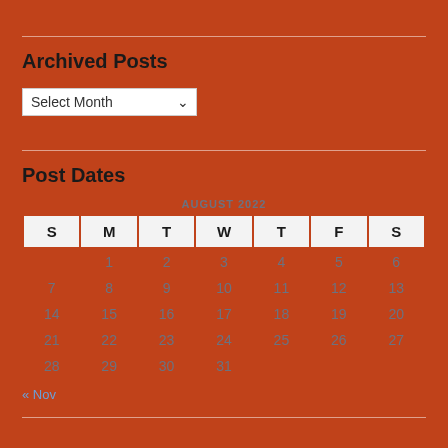Archived Posts
Select Month
Post Dates
| S | M | T | W | T | F | S |
| --- | --- | --- | --- | --- | --- | --- |
|  | 1 | 2 | 3 | 4 | 5 | 6 |
| 7 | 8 | 9 | 10 | 11 | 12 | 13 |
| 14 | 15 | 16 | 17 | 18 | 19 | 20 |
| 21 | 22 | 23 | 24 | 25 | 26 | 27 |
| 28 | 29 | 30 | 31 |  |  |  |
« Nov